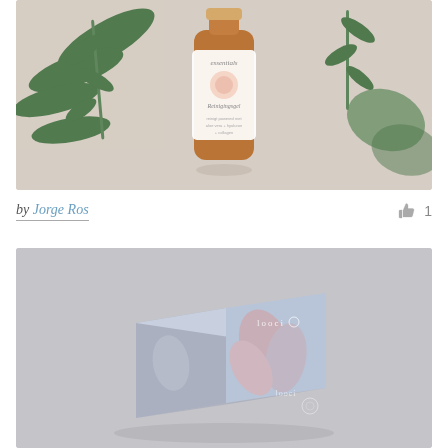[Figure (photo): Product photo of a brown glass bottle with a white label reading 'essentials' and 'Reinigingsgel', surrounded by green leaves on a beige/taupe background.]
by Jorge Ros
1
[Figure (photo): Product packaging photo of a light blue square box with pink and white floral/leaf design and the 'Looci' brand name, photographed on a gray background.]